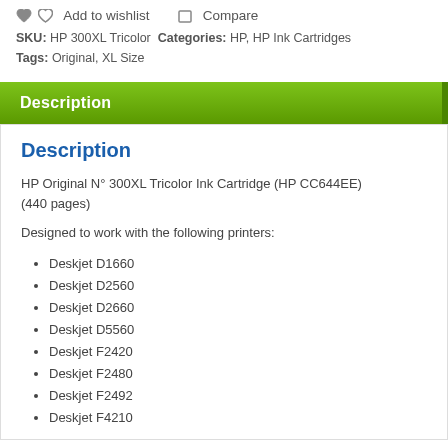Add to wishlist   Compare
SKU: HP 300XL Tricolor Categories: HP, HP Ink Cartridges Tags: Original, XL Size
Description
Description
HP Original N° 300XL Tricolor Ink Cartridge (HP CC644EE) (440 pages)
Designed to work with the following printers:
Deskjet D1660
Deskjet D2560
Deskjet D2660
Deskjet D5560
Deskjet F2420
Deskjet F2480
Deskjet F2492
Deskjet F4210